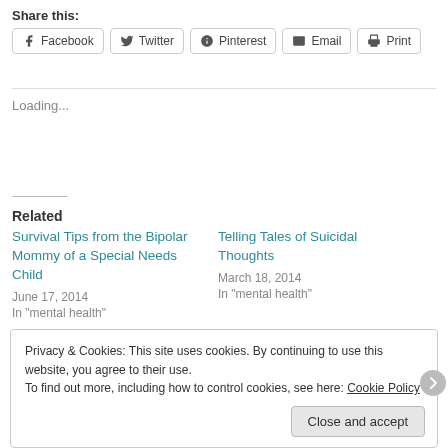Share this:
[Figure (other): Share buttons row: Facebook, Twitter, Pinterest, Email, Print]
Loading...
Related
Survival Tips from the Bipolar Mommy of a Special Needs Child
June 17, 2014
In "mental health"
Telling Tales of Suicidal Thoughts
March 18, 2014
In "mental health"
Privacy & Cookies: This site uses cookies. By continuing to use this website, you agree to their use.
To find out more, including how to control cookies, see here: Cookie Policy